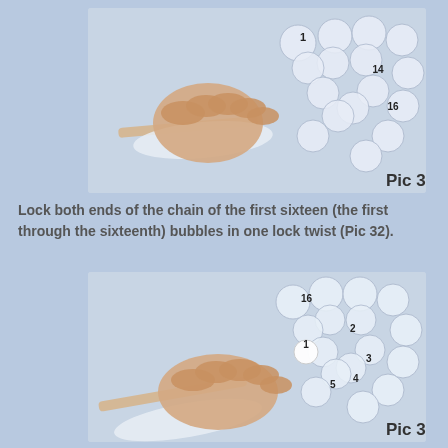[Figure (photo): A hand holding a chain of sixteen balloon bubbles arranged in a ring shape, with bubbles numbered 1, 14, and 16 visible. A balloon with a wooden stick is also visible. Labeled 'Pic 31'.]
Lock both ends of the chain of the first sixteen (the first through the sixteenth) bubbles in one lock twist (Pic 32).
[Figure (photo): A hand holding a chain of sixteen balloon bubbles arranged in a ring, with bubbles numbered 16, 1, 2, 3, 4, and 5 visible. A balloon with a wooden stick extends from the hand. Labeled 'Pic 32'.]